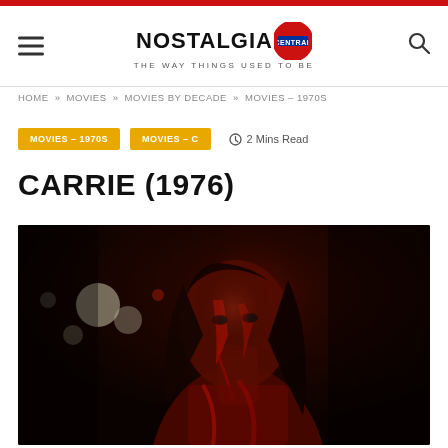NOSTALGIA CENTRAL — THE WAY THINGS USED TO BE
HOME » MOVIES » MOVIES BY DECADE » MOVIES – 1970S
MOVIES – 1970S   MOVIES – C   2 Mins Read
CARRIE (1976)
[Figure (photo): A young woman covered in red blood, with wet dark hair, looking forward in a dark scene — promotional still from Carrie (1976)]